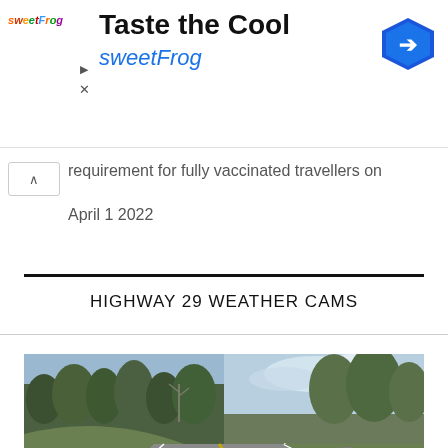[Figure (logo): sweetFrog advertising banner with 'Taste the Cool' headline and sweetFrog brand name in colored italic text, with a blue diamond navigation arrow icon in the top right]
requirement for fully vaccinated travellers on April  1 2022
HIGHWAY 29 WEATHER CAMS
[Figure (photo): Weather camera view of Highway 29 showing a two-lane road curving to the right with yellow center line and white edge line, bordered by green trees and shrubs on a hillside, under a partly cloudy sky]